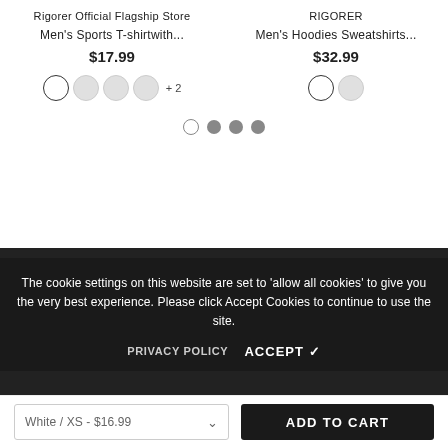Rigorer Official Flagship Store
Men's Sports T-shirtwith...
$17.99
RIGORER
Men's Hoodies Sweatshirts...
$32.99
The cookie settings on this website are set to 'allow all cookies' to give you the very best experience. Please click Accept Cookies to continue to use the site.
PRIVACY POLICY
ACCEPT ✓
SHOP
INFORMATION
CUSTOMER SERVICE
White / XS - $16.99
ADD TO CART